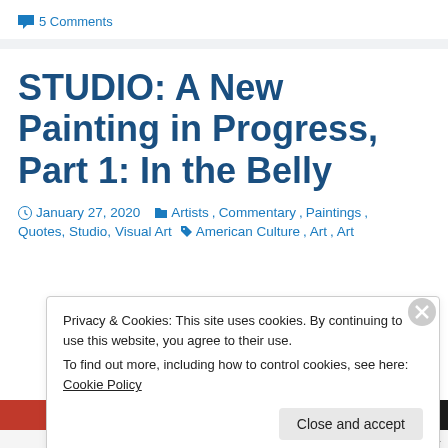5 Comments
STUDIO: A New Painting in Progress, Part 1: In the Belly
January 27, 2020  Artists, Commentary, Paintings, Quotes, Studio, Visual Art  American Culture, Art, Art
Privacy & Cookies: This site uses cookies. By continuing to use this website, you agree to their use.
To find out more, including how to control cookies, see here: Cookie Policy
Close and accept